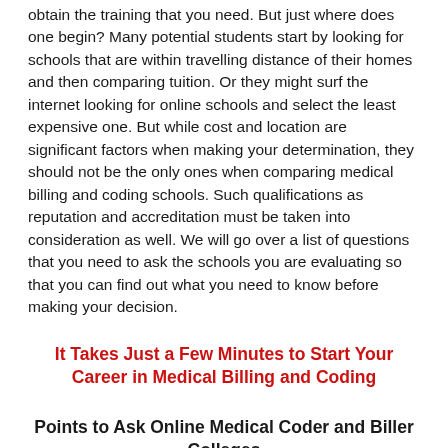obtain the training that you need. But just where does one begin? Many potential students start by looking for schools that are within travelling distance of their homes and then comparing tuition. Or they might surf the internet looking for online schools and select the least expensive one. But while cost and location are significant factors when making your determination, they should not be the only ones when comparing medical billing and coding schools. Such qualifications as reputation and accreditation must be taken into consideration as well. We will go over a list of questions that you need to ask the schools you are evaluating so that you can find out what you need to know before making your decision.
It Takes Just a Few Minutes to Start Your Career in Medical Billing and Coding
Points to Ask Online Medical Coder and Biller Colleges